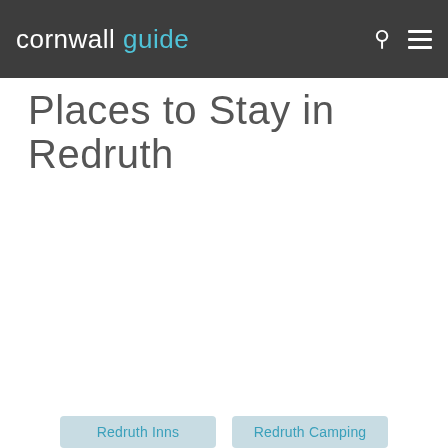cornwall guide
Places to Stay in Redruth
Redruth Inns
Redruth Camping